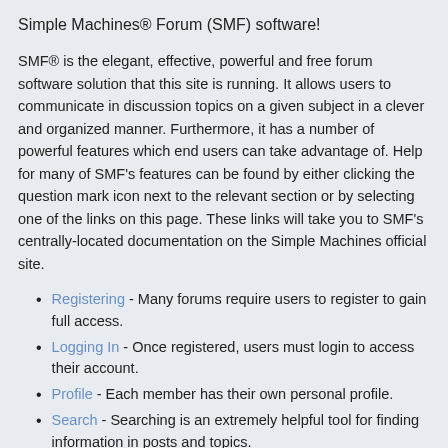Simple Machines® Forum (SMF) software!
SMF® is the elegant, effective, powerful and free forum software solution that this site is running. It allows users to communicate in discussion topics on a given subject in a clever and organized manner. Furthermore, it has a number of powerful features which end users can take advantage of. Help for many of SMF's features can be found by either clicking the question mark icon next to the relevant section or by selecting one of the links on this page. These links will take you to SMF's centrally-located documentation on the Simple Machines official site.
Registering - Many forums require users to register to gain full access.
Logging In - Once registered, users must login to access their account.
Profile - Each member has their own personal profile.
Search - Searching is an extremely helpful tool for finding information in posts and topics.
Posting - The whole point of a forum, posting allows users to express themselves.
Bulletin Board Code (BBC) - Posts can be spiced up with a little BBC.
Personal Messages - Users can send personal messages to